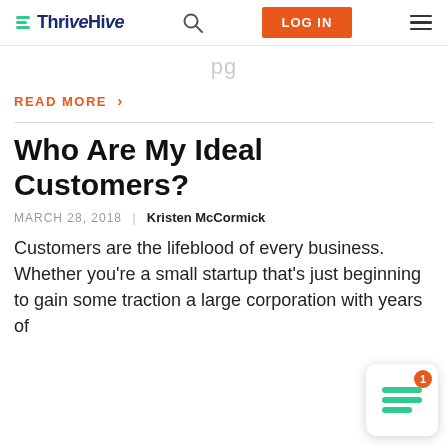ThriveHive | LOG IN
pg
READ MORE >
Who Are My Ideal Customers?
MARCH 28, 2018 | Kristen McCormick
Customers are the lifeblood of every business. Whether you're a small startup that's just beginning to gain some traction a large corporation with years of